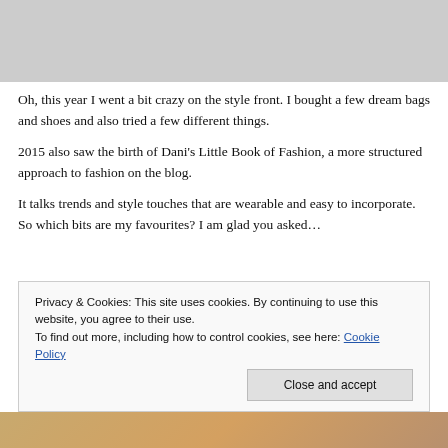[Figure (photo): Four fashion photos in a horizontal strip: high heels near Christmas tree, woman holding lips-shaped purse, woman in yellow dress outdoors, black Chanel quilted bag]
Oh, this year I went a bit crazy on the style front. I bought a few dream bags and shoes and also tried a few different things.
2015 also saw the birth of Dani's Little Book of Fashion, a more structured approach to fashion on the blog.
It talks trends and style touches that are wearable and easy to incorporate. So which bits are my favourites? I am glad you asked…
Privacy & Cookies: This site uses cookies. By continuing to use this website, you agree to their use.
To find out more, including how to control cookies, see here: Cookie Policy
[Figure (photo): Partial fashion photo at bottom of page]